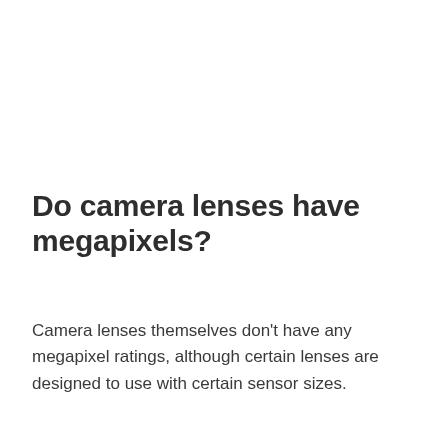Do camera lenses have megapixels?
Camera lenses themselves don't have any megapixel ratings, although certain lenses are designed to use with certain sensor sizes.